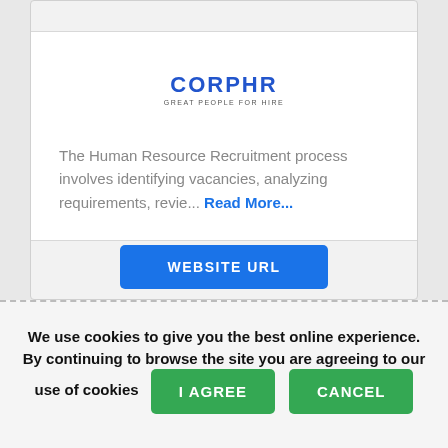[Figure (logo): CORPHR logo with tagline 'GREAT PEOPLE FOR HIRE']
The Human Resource Recruitment process involves identifying vacancies, analyzing requirements, revie... Read More...
WEBSITE URL
We use cookies to give you the best online experience. By continuing to browse the site you are agreeing to our use of cookies
I AGREE
CANCEL